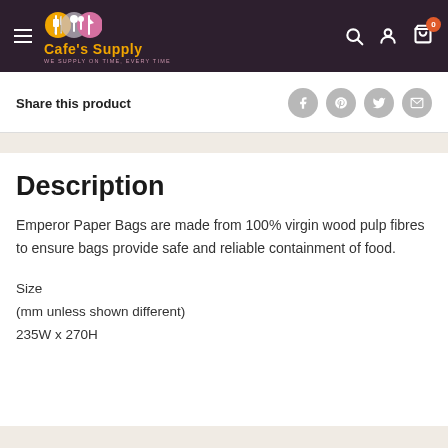Cafe's Supply - WE SUPPLY ON TIME, EVERY TIME
Share this product
Description
Emperor Paper Bags are made from 100% virgin wood pulp fibres to ensure bags provide safe and reliable containment of food.
Size
(mm unless shown different)
235W x 270H